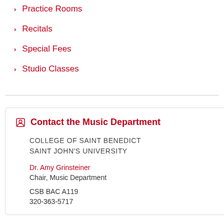Practice Rooms
Recitals
Special Fees
Studio Classes
Contact the Music Department
COLLEGE OF SAINT BENEDICT
SAINT JOHN'S UNIVERSITY
Dr. Amy Grinsteiner
Chair, Music Department
CSB BAC A119
320-363-5717